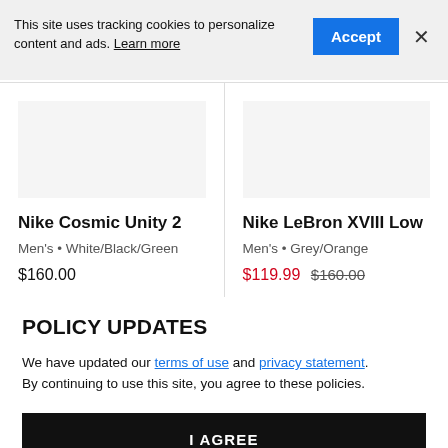This site uses tracking cookies to personalize content and ads. Learn more
Accept
×
Nike Cosmic Unity 2
Men's • White/Black/Green
$160.00
Nike LeBron XVIII Low
Men's • Grey/Orange
$119.99  $160.00
POLICY UPDATES
We have updated our terms of use and privacy statement. By continuing to use this site, you agree to these policies.
I AGREE